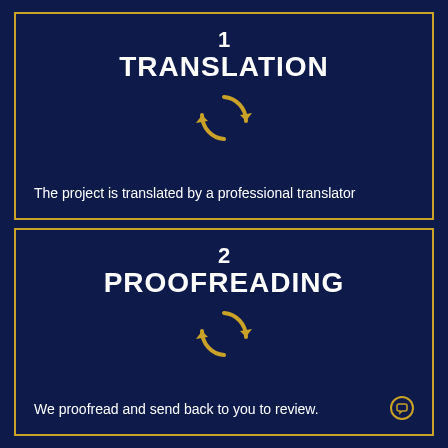[Figure (infographic): Dark navy blue card with gold border. Number '1' and title 'TRANSLATION' in white bold text centered at top. Gold circular arrows icon in center. Text at bottom: 'The project is translated by a professional translator']
[Figure (infographic): Dark navy blue card with gold border. Number '2' and title 'PROOFREADING' in white bold text centered at top. Gold circular arrows icon in center. Text at bottom: 'We proofread and send back to you to review.']